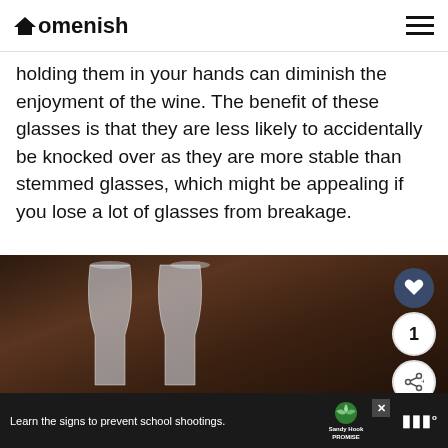Homenish
holding them in your hands can diminish the enjoyment of the wine. The benefit of these glasses is that they are less likely to accidentally be knocked over as they are more stable than stemmed glasses, which might be appealing if you lose a lot of glasses from breakage.
[Figure (photo): Two stemless wine glasses on a dark wooden background with social action buttons (heart, count 1, share) overlaid on the right side]
Learn the signs to prevent school shootings. Sandy Hook PROMISE